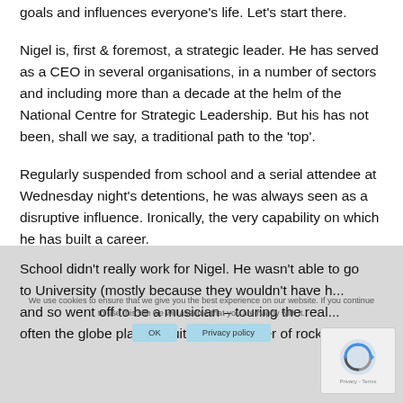goals and influences everyone's life. Let's start there.
Nigel is, first & foremost, a strategic leader. He has served as a CEO in several organisations, in a number of sectors and including more than a decade at the helm of the National Centre for Strategic Leadership. But his has not been, shall we say, a traditional path to the 'top'.
Regularly suspended from school and a serial attendee at Wednesday night's detentions, he was always seen as a disruptive influence. Ironically, the very capability on which he has built a career.
School didn't really work for Nigel. He wasn't able to go to University (mostly because they wouldn't have h... and so went off to be a musician – touring the real... often the globe playing guitar in a number of rock b...